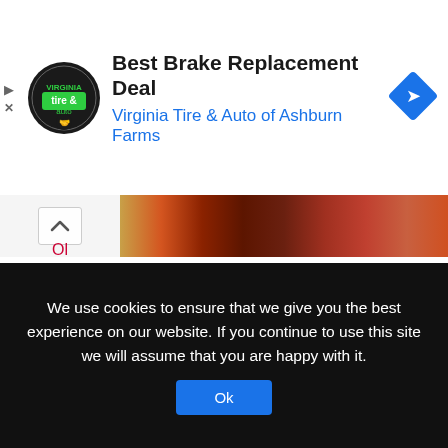[Figure (infographic): Advertisement banner for Virginia Tire & Auto of Ashburn Farms showing logo, title 'Best Brake Replacement Deal', and a blue diamond road sign icon]
[Figure (photo): Decorative image strip showing autumn leaves in warm red, orange, yellow tones with a chevron/up arrow button on the left]
The secret of life is not just to live, but to have something worthwhile to live for.
This Image & Quotes Submitted By Szuch. Submit Your Quotes Now.
Posted in Life Quotes
We use cookies to ensure that we give you the best experience on our website. If you continue to use this site we will assume that you are happy with it.